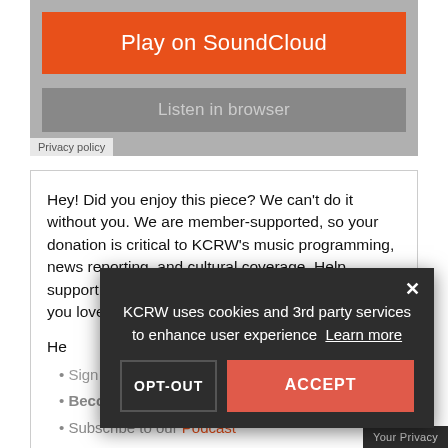[Figure (screenshot): SoundCloud embedded player area with orange 'Play on SoundCloud' button and gray 'Listen in browser' button on gray background]
Privacy policy
Hey! Did you enjoy this piece? We can't do it without you. We are member-supported, so your donation is critical to KCRW's music programming, news reporting, and cultural coverage. Help support the DJs, journalists, and staff of the station you love.
He...
Sign up for our newsletter.
Become a KCRW member.
Subscribe to our Podcast
Donate to KCRW.
KCRW uses cookies and 3rd party services to enhance user experience  Learn more
OPT-OUT    ACCEPT
Your Privacy